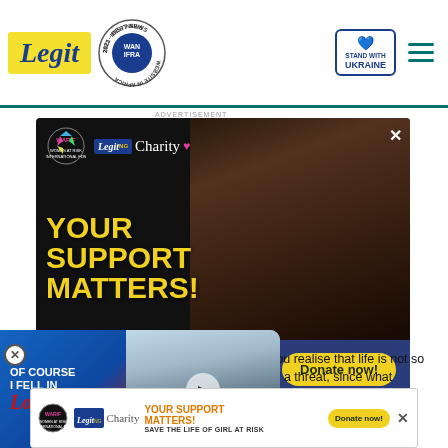Legit | WAN-IFRA Best News Website in Africa 2021 | Stand with Ukraine
[Figure (screenshot): Legit.ng Charity / WARIF advertisement banner with dark background, woman figure, text 'YOUR SUPPORT MATTERS!' in yellow, and 'Donate now!' button]
[Figure (screenshot): Video promo overlay: 'OF COURSE I FELL IN Love' with couple photo and play button]
you realise that life is not so of a threat, since what
[Figure (screenshot): Bottom banner ad: WARIF / Legit.ng Charity - YOUR SUPPORT MATTERS! SAVE THE LIFE OF GIRL AT RISK - Donate now!]